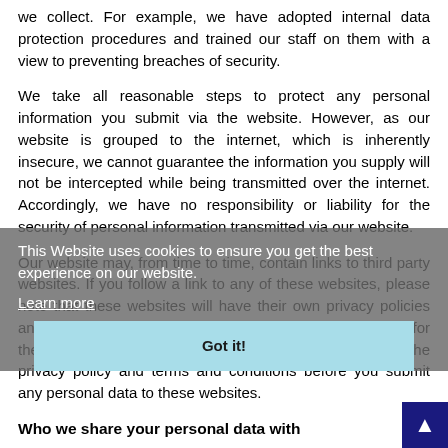we collect. For example, we have adopted internal data protection procedures and trained our staff on them with a view to preventing breaches of security.
We take all reasonable steps to protect any personal information you submit via the website. However, as our website is grouped to the internet, which is inherently insecure, we cannot guarantee the information you supply will not be intercepted while being transmitted over the internet. Accordingly, we have no responsibility or liability for the security of personal information transmitted via our website.
Our website may, from time to time, contain links to third party websites. If you follow a link to any of these websites, please note that these websites will have their own privacy policies and that we do not accept any responsibility or liability for these policies. We therefore recommend that you read the privacy policy and terms and conditions before you submit any personal data to these websites.
Who we share your personal data with
The NHS Confederation will not sell your information to any third party.
We may share your information with third parties where we have a legal duty to do so or to provide you with a service you have asked for. We may share your personal data within our group of
This Website uses cookies to ensure you get the best experience on our website.
Learn more
Got it!